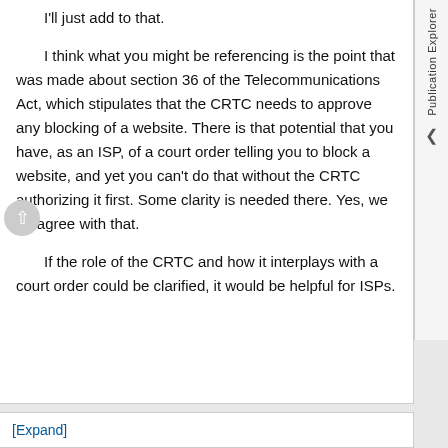I'll just add to that.
I think what you might be referencing is the point that was made about section 36 of the Telecommunications Act, which stipulates that the CRTC needs to approve any blocking of a website. There is that potential that you have, as an ISP, of a court order telling you to block a website, and yet you can't do that without the CRTC authorizing it first. Some clarity is needed there. Yes, we do agree with that.
If the role of the CRTC and how it interplays with a court order could be clarified, it would be helpful for ISPs.
[Expand]